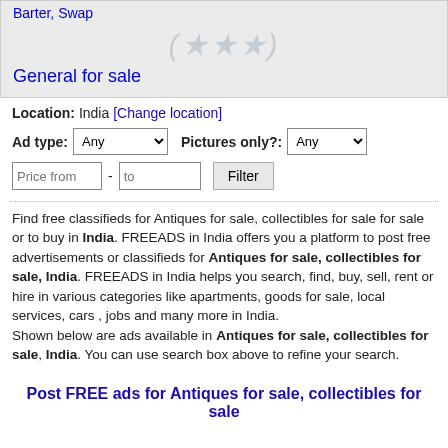Barter, Swap
[Figure (illustration): Watermark/decorative text in light gray showing circular pattern]
General for sale
Location: India [Change location]
Ad type: Any   Pictures only?: Any
Price from - to   Filter
Find free classifieds for Antiques for sale, collectibles for sale for sale or to buy in India. FREEADS in India offers you a platform to post free advertisements or classifieds for Antiques for sale, collectibles for sale, India. FREEADS in India helps you search, find, buy, sell, rent or hire in various categories like apartments, goods for sale, local services, cars , jobs and many more in India. Shown below are ads available in Antiques for sale, collectibles for sale, India. You can use search box above to refine your search.
Post FREE ads for Antiques for sale, collectibles for sale